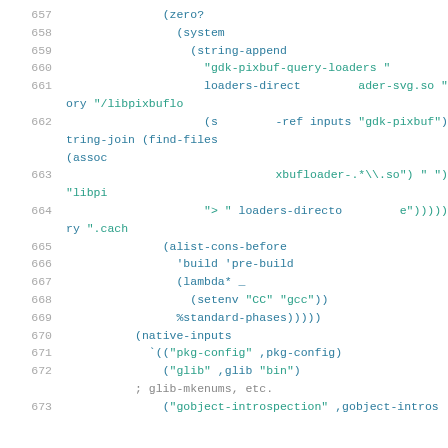Code listing lines 657-673 showing Scheme/Guix package configuration code
657   (zero?
658     (system
659       (string-append
660         "gdk-pixbuf-query-loaders "
661         loaders-directory "/libpixbufloader-svg.so "
662         (string-join (find-files (assoc-ref inputs "gdk-pixbuf")
663                                               "libpixbufloader-.*\\.so") " ")
664         "> " loaders-directory ".cache")))))
665       (alist-cons-before
666         'build 'pre-build
667         (lambda* _
668           (setenv "CC" "gcc"))
669         %standard-phases)))))
670     (native-inputs
671       `(("pkg-config" ,pkg-config)
672         ("glib" ,glib "bin")
; glib-mkenums, etc.
673         ("gobject-introspection" ,gobject-intros